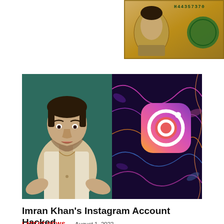[Figure (photo): US dollar bill close-up showing serial number H44357370 and portrait, partially visible in top-right corner]
[Figure (photo): Composite image: left half shows Imran Khan gesturing with hands against teal/green background, right half shows Instagram logo on dark purple background with colorful neon squiggle lines]
Imran Khan’s Instagram Account Hacked
LATEST NEWS — August 1, 2022
The former prime minister and leader of Pakistan Tehreek-i-official Insaf’s Instagram account…